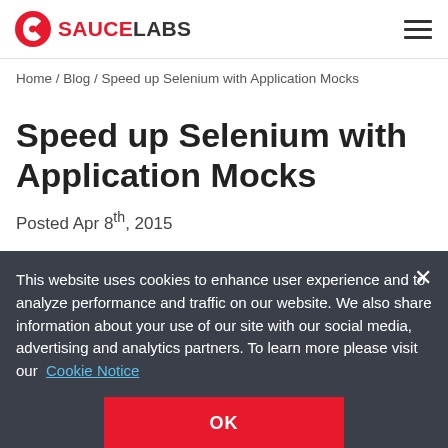Sauce Labs [logo] [hamburger menu]
Home / Blog / Speed up Selenium with Application Mocks
Speed up Selenium with Application Mocks
Posted Apr 8th, 2015
Let's face it, we all know Selenium is slow. Not the Selenium scripts themselves, but the process of interacting with the operating system, and browser
This website uses cookies to enhance user experience and to analyze performance and traffic on our website. We also share information about your use of our site with our social media, advertising and analytics partners. To learn more please visit our Cookie Notice
OK